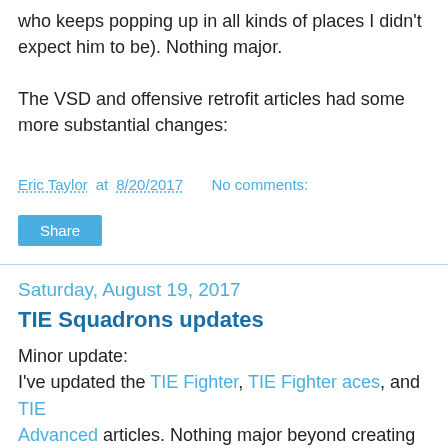who keeps popping up in all kinds of places I didn't expect him to be). Nothing major.
The VSD and offensive retrofit articles had some more substantial changes:
Eric Taylor at 8/20/2017    No comments:
Share
Saturday, August 19, 2017
TIE Squadrons updates
Minor update:
I've updated the TIE Fighter, TIE Fighter aces, and TIE Advanced articles. Nothing major beyond creating hyperlinks where there used to be none and minor editing to make wording clearer, but it's done and the articles now look less old and more like something we'd be creating now. This should be going on intermittently as we catch everything up to wave 6...